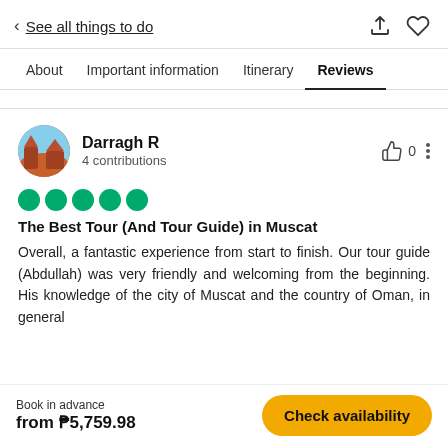< See all things to do
About  Important information  Itinerary  Reviews
Darragh R
4 contributions
The Best Tour (And Tour Guide) in Muscat
Overall, a fantastic experience from start to finish. Our tour guide (Abdullah) was very friendly and welcoming from the beginning. His knowledge of the city of Muscat and the country of Oman, in general
Book in advance
from ₱5,759.98  Check availability